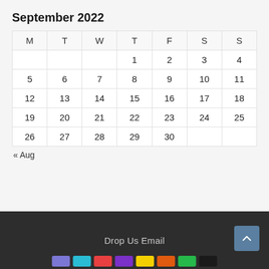September 2022
| M | T | W | T | F | S | S |
| --- | --- | --- | --- | --- | --- | --- |
|  |  |  | 1 | 2 | 3 | 4 |
| 5 | 6 | 7 | 8 | 9 | 10 | 11 |
| 12 | 13 | 14 | 15 | 16 | 17 | 18 |
| 19 | 20 | 21 | 22 | 23 | 24 | 25 |
| 26 | 27 | 28 | 29 | 30 |  |  |
« Aug
Drop Us Email